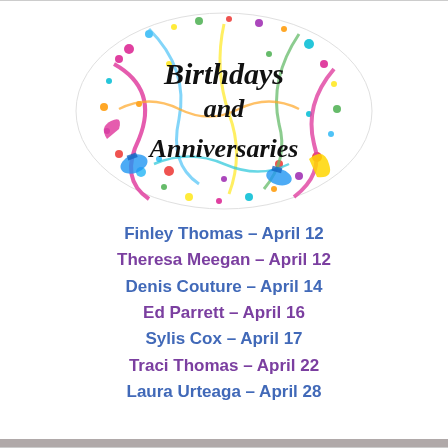[Figure (illustration): Oval decorative graphic with colorful confetti, streamers, ribbons, and the bold text 'Birthdays and Anniversaries' in black serif font on a white ellipse background]
Finley Thomas – April 12
Theresa Meegan – April 12
Denis Couture – April 14
Ed Parrett – April 16
Sylis Cox – April 17
Traci Thomas – April 22
Laura Urteaga – April 28